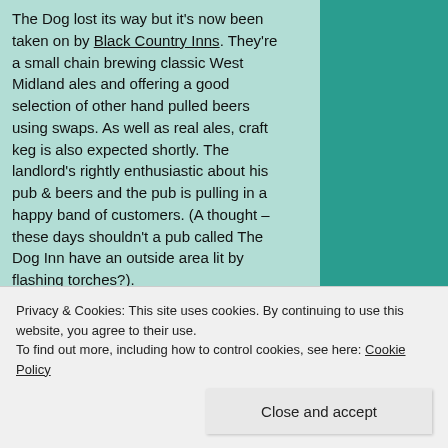The Dog lost its way but it's now been taken on by Black Country Inns. They're a small chain brewing classic West Midland ales and offering a good selection of other hand pulled beers using swaps. As well as real ales, craft keg is also expected shortly. The landlord's rightly enthusiastic about his pub & beers and the pub is pulling in a happy band of customers. (A thought – these days shouldn't a pub called The Dog Inn have an outside area lit by flashing torches?).
Just down the High Street in William Worthington territory, the former Blue
Privacy & Cookies: This site uses cookies. By continuing to use this website, you agree to their use. To find out more, including how to control cookies, see here: Cookie Policy